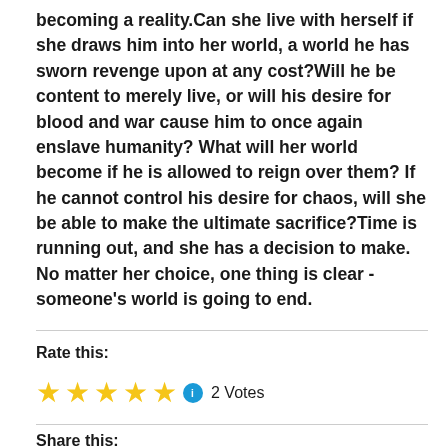becoming a reality.Can she live with herself if she draws him into her world, a world he has sworn revenge upon at any cost?Will he be content to merely live, or will his desire for blood and war cause him to once again enslave humanity? What will her world become if he is allowed to reign over them? If he cannot control his desire for chaos, will she be able to make the ultimate sacrifice?Time is running out, and she has a decision to make. No matter her choice, one thing is clear -someone's world is going to end.
Rate this:
[Figure (other): Five yellow star rating icons followed by a blue info icon and '2 Votes' text]
Share this: